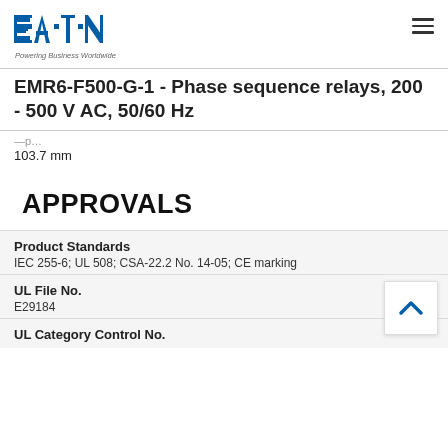[Figure (logo): Eaton logo with text 'Powering Business Worldwide']
EMR6-F500-G-1 - Phase sequence relays, 200 - 500 V AC, 50/60 Hz
Depth
103.7 mm
APPROVALS
| Property | Value |
| --- | --- |
| Product Standards | IEC 255-6; UL 508; CSA-22.2 No. 14-05; CE marking |
| UL File No. | E29184 |
| UL Category Control No. |  |